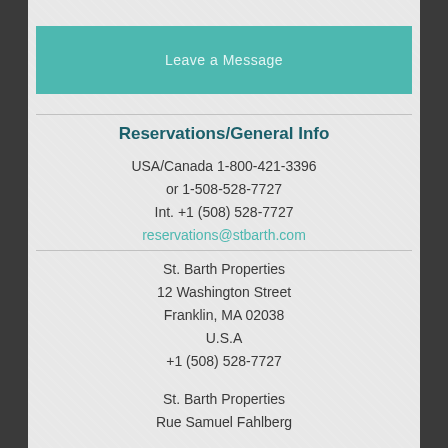[Figure (other): Teal button/bar labeled 'Leave a Message']
Reservations/General Info
USA/Canada 1-800-421-3396
or 1-508-528-7727
Int. +1 (508) 528-7727
reservations@stbarth.com
St. Barth Properties
12 Washington Street
Franklin, MA 02038
U.S.A
+1 (508) 528-7727
St. Barth Properties
Rue Samuel Fahlberg